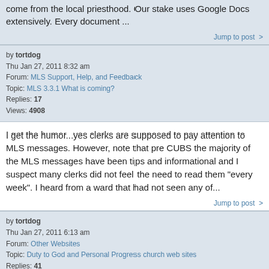come from the local priesthood. Our stake uses Google Docs extensively. Every document ...
Jump to post >
by tortdog
Thu Jan 27, 2011 8:32 am
Forum: MLS Support, Help, and Feedback
Topic: MLS 3.3.1 What is coming?
Replies: 17
Views: 4908
I get the humor...yes clerks are supposed to pay attention to MLS messages. However, note that pre CUBS the majority of the MLS messages have been tips and informational and I suspect many clerks did not feel the need to read them "every week". I heard from a ward that had not seen any of...
Jump to post >
by tortdog
Thu Jan 27, 2011 6:13 am
Forum: Other Websites
Topic: Duty to God and Personal Progress church web sites
Replies: 41
Views: 15480
We've also realized that the tracking of the YM by adults (whether parents or leaders) is not setup for DTG, just Personal Progress. But it's a start.